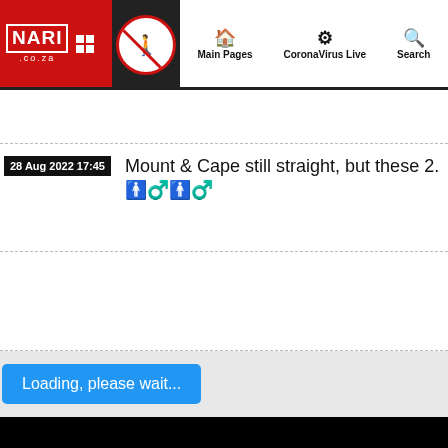NARI .co.za | Main Pages | CoronaVirus Live | Search
28 Aug 2022 17:45
Mount & Cape still straight, but these 2. ♂♂
Loading, please wait...